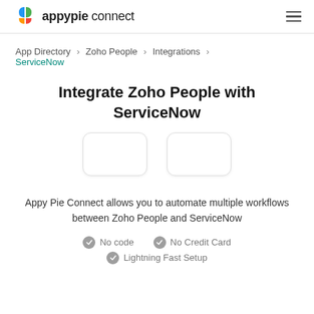appypie connect
App Directory > Zoho People > Integrations > ServiceNow
Integrate Zoho People with ServiceNow
[Figure (illustration): Two rounded rectangle icon placeholder boxes side by side representing Zoho People and ServiceNow app icons]
Appy Pie Connect allows you to automate multiple workflows between Zoho People and ServiceNow
No code   No Credit Card   Lightning Fast Setup